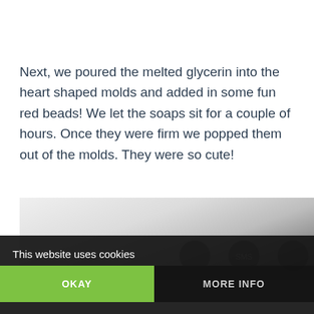Next, we poured the melted glycerin into the heart shaped molds and added in some fun red beads! We let the soaps sit for a couple of hours. Once they were firm we popped them out of the molds. They were so cute!
[Figure (photo): Partial photo of heart-shaped glycerin soaps in molds on a white surface, with dark social media icons visible in the lower right, partially obscured by a cookie consent overlay.]
This website uses cookies
OKAY
MORE INFO